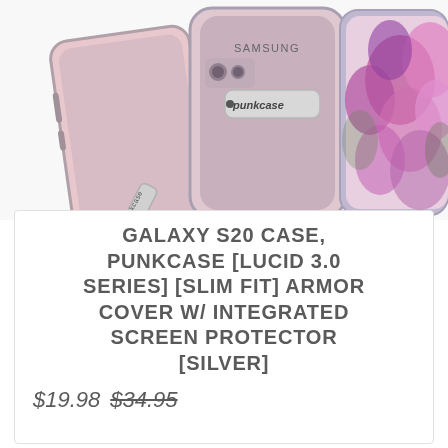[Figure (photo): Product photo showing two Samsung Galaxy S20 phone cases from Punkcase in pink/rose color with silver kickstand/stand, with 'punkcase' branding visible on the kickstand. One case shown from the back at an angle with the kickstand extended, another shown from the front revealing a Samsung phone display with flower wallpaper.]
GALAXY S20 CASE, PUNKCASE [LUCID 3.0 SERIES] [SLIM FIT] ARMOR COVER W/ INTEGRATED SCREEN PROTECTOR [SILVER]
$19.98 $34.95